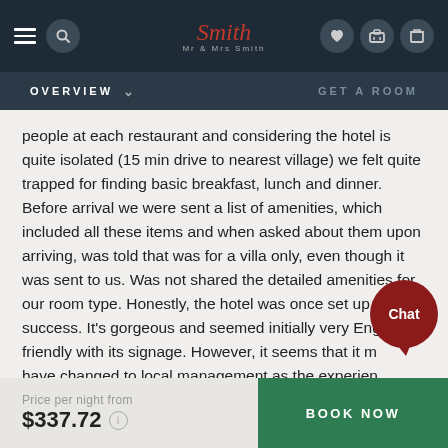Mr & Mrs Smith — Navigation header with hamburger, search, logo, phone, heart, and luggage icons
OVERVIEW  ∨    GET A ROOM
people at each restaurant and considering the hotel is quite isolated (15 min drive to nearest village) we felt quite trapped for finding basic breakfast, lunch and dinner. Before arrival we were sent a list of amenities, which included all these items and when asked about them upon arriving, was told that was for a villa only, even though it was sent to us. Was not shared the detailed amenities for our room type. Honestly, the hotel was once set up for success. It's gorgeous and seemed initially very English friendly with its signage. However, it seems that it may have changed to local management as the experience...
Price per night from $337.72  BOOK NOW